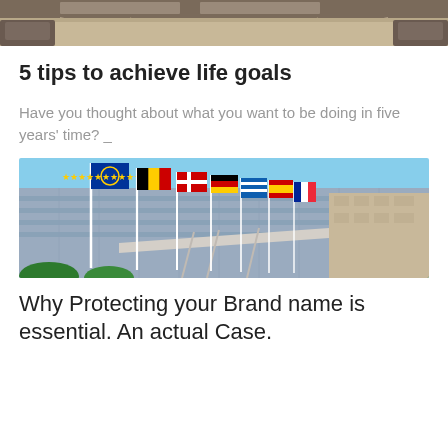[Figure (photo): Top portion of a photo showing an interior scene, cropped at the top of the page]
5 tips to achieve life goals
Have you thought about what you want to be doing in five years' time? _
[Figure (photo): Photo of a modern government or institutional building with multiple European country flags on poles in the foreground, blue sky background]
Why Protecting your Brand name is essential. An actual Case.